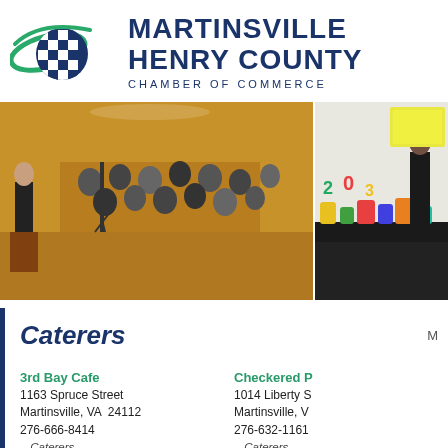[Figure (logo): Martinsville Henry County Chamber of Commerce logo with checkered flag sphere and green swoosh]
[Figure (photo): Two photos side by side: left shows a speaker at a podium addressing a large seated audience in a banquet hall; right shows a man in a suit standing at a display table with colorful items and signage]
Caterers
M
3rd Bay Cafe
1163 Spruce Street
Martinsville, VA  24112
276-666-8414
 - Caterers
 - Restaurants
Checkered P
1014 Liberty S
Martinsville, V
276-632-1161
 - Caterers
 - Restaurants